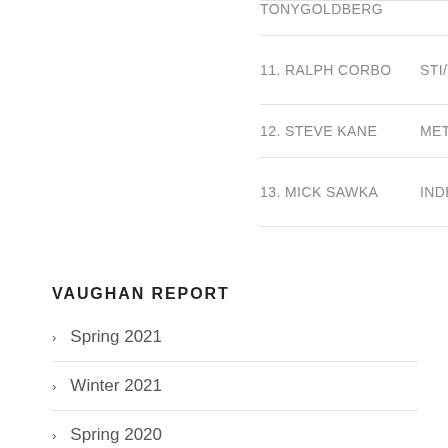| #. NAME | COMPANY | TYPE |
| --- | --- | --- |
| TONYGOLDBERG |  |  |
| 11. RALPH CORBO | STI/TIEMAN | DOCK D... |
| 12. STEVE KANE | METLER TOLEDO | WEIGH... |
| 13. MICK SAWKA | INDEPENDENT FENCING | AUTO G... |
VAUGHAN REPORT
Spring 2021
Winter 2021
Spring 2020
Winter 2020